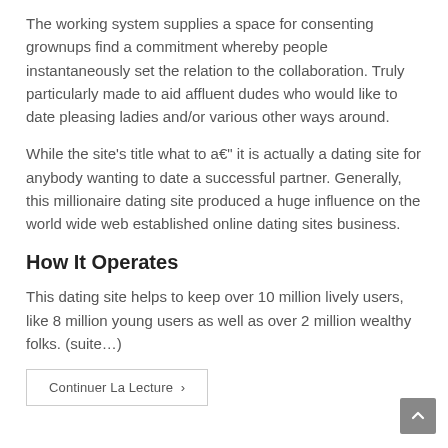The working system supplies a space for consenting grownups find a commitment whereby people instantaneously set the relation to the collaboration. Truly particularly made to aid affluent dudes who would like to date pleasing ladies and/or various other ways around.
While the site's title what to a€" it is actually a dating site for anybody wanting to date a successful partner. Generally, this millionaire dating site produced a huge influence on the world wide web established online dating sites business.
How It Operates
This dating site helps to keep over 10 million lively users, like 8 million young users as well as over 2 million wealthy folks. (suite…)
Continuer La Lecture ›